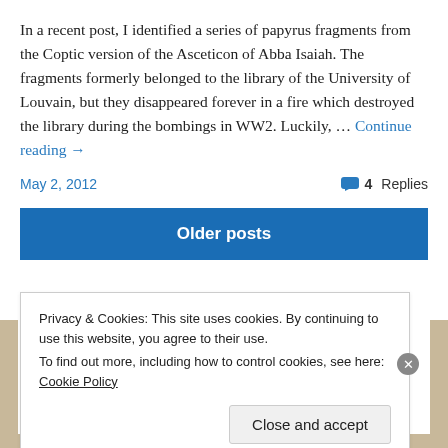In a recent post, I identified a series of papyrus fragments from the Coptic version of the Asceticon of Abba Isaiah. The fragments formerly belonged to the library of the University of Louvain, but they disappeared forever in a fire which destroyed the library during the bombings in WW2. Luckily, ... Continue reading →
May 2, 2012
4 Replies
Older posts
Privacy & Cookies: This site uses cookies. By continuing to use this website, you agree to their use.
To find out more, including how to control cookies, see here: Cookie Policy
Close and accept